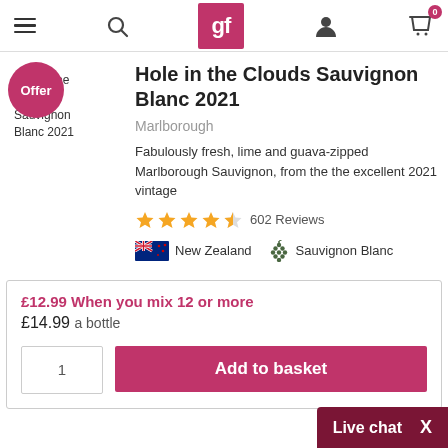gf — online wine retailer navigation bar
[Figure (screenshot): Offer badge circle with text 'Offer' overlaid on wine bottle thumbnail with text 'hole in the Clouds Sauvignon Blanc 2021']
Hole in the Clouds Sauvignon Blanc 2021
Marlborough
Fabulously fresh, lime and guava-zipped Marlborough Sauvignon, from the the excellent 2021 vintage
602 Reviews
New Zealand   Sauvignon Blanc
£12.99 When you mix 12 or more
£14.99 a bottle
Add to basket
Live chat  X